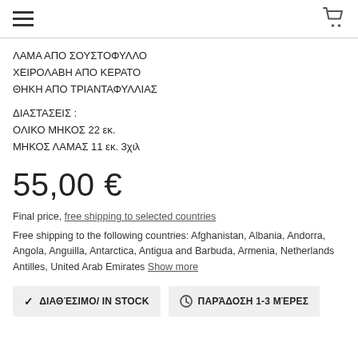Navigation menu and cart icon
ΛΑΜΑ ΑΠΟ ΣΟΥΣΤΟΦΥΛΛΟ
ΧΕΙΡΟΛΑΒΗ ΑΠΟ ΚΕΡΑΤΟ
ΘΗΚΗ ΑΠΟ ΤΡΙΑΝΤΑΦΥΛΛΙΑΣ
ΔΙΑΣΤΑΣΕΙΣ :
ΟΛΙΚΟ ΜΗΚΟΣ 22 εκ.
ΜΗΚΟΣ ΛΑΜΑΣ 11 εκ. 3χιλ
55,00 €
Final price, free shipping to selected countries
Free shipping to the following countries: Afghanistan, Albania, Andorra, Angola, Anguilla, Antarctica, Antigua and Barbuda, Armenia, Netherlands Antilles, United Arab Emirates Show more
✓ ΔΙΑΘΈΣΙΜΟ/ IN STOCK   🕐 ΠΑΡΆΔΟΣΗ 1-3 ΜΈΡΕΣ